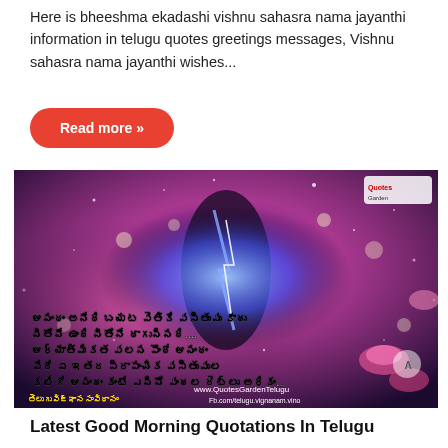Here is bheeshma ekadashi vishnu sahasra nama jayanthi information in telugu quotes greetings messages, Vishnu sahasra nama jayanthi wishes...
Read more »
[Figure (photo): Devotional image with Telugu spiritual quote text overlaid on a cosmic/galaxy background with pink flowers and glowing light. Telugu text reads about spiritual happiness being greater than worldly pleasures. Watermark: www.QuotesGardenTelugu, Fb.com/telugu.vignanam.vino]
Latest Good Morning Quotations In Telugu